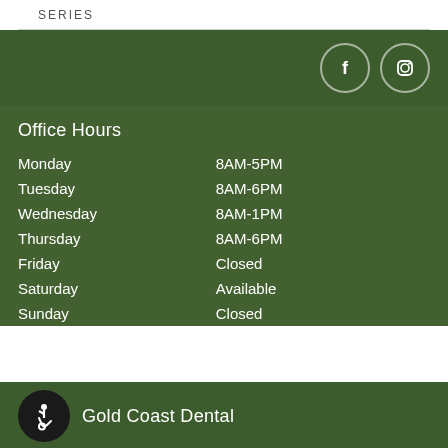[Figure (other): Green banner with Facebook and Instagram social media icons in circular outlines]
Office Hours
| Day | Hours |
| --- | --- |
| Monday | 8AM-5PM |
| Tuesday | 8AM-6PM |
| Wednesday | 8AM-1PM |
| Thursday | 8AM-6PM |
| Friday | Closed |
| Saturday | Available |
| Sunday | Closed |
Gold Coast Dental